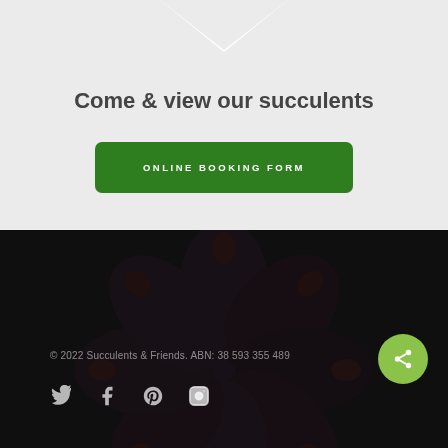Come & view our succulents
ONLINE BOOKING FORM
[Figure (photo): Dark succulent plant with rosette leaves, dramatically lit with deep purple and red tones, used as a background image in the footer section]
© 2022 Succulents & Friends. ABN: 38 593 355 489